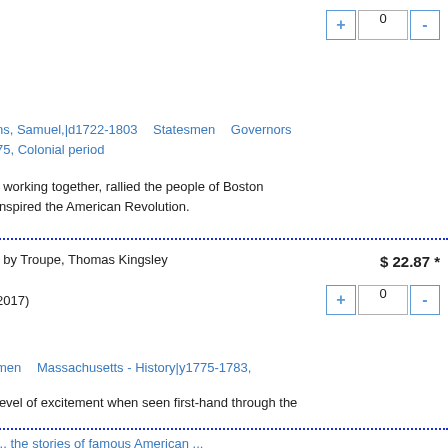+ 0 - (quantity control, top)
ns, Samuel,|d1722-1803   Statesmen   Governors   75, Colonial period
, working together, rallied the people of Boston inspired the American Revolution.
] by Troupe, Thomas Kingsley   $ 22.87 *
2017)
+ 0 - (quantity control, second item)
men   Massachusetts - History|y1775-1783,
level of excitement when seen first-hand through the
... (the stories of famous American...)